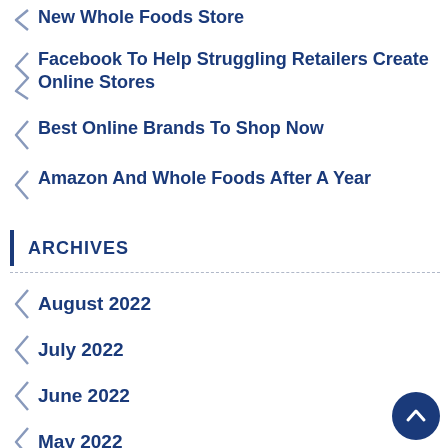New Whole Foods Store
Facebook To Help Struggling Retailers Create Online Stores
Best Online Brands To Shop Now
Amazon And Whole Foods After A Year
ARCHIVES
August 2022
July 2022
June 2022
May 2022
April